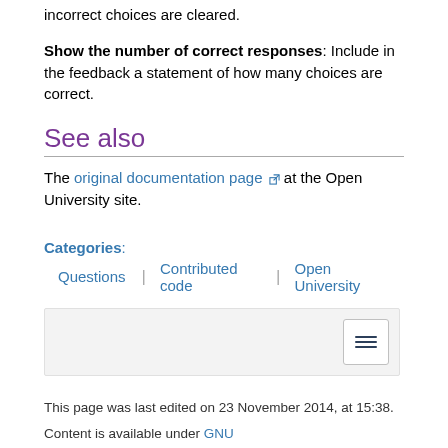incorrect choices are cleared.
Show the number of correct responses: Include in the feedback a statement of how many choices are correct.
See also
The original documentation page at the Open University site.
Categories: Questions | Contributed code | Open University
[Figure (other): Table of contents toggle button (hamburger icon) in a gray box]
This page was last edited on 23 November 2014, at 15:38.
Content is available under GNU